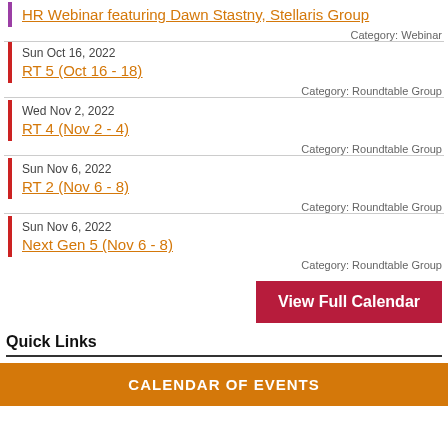HR Webinar featuring Dawn Stastny, Stellaris Group
Category: Webinar
Sun Oct 16, 2022
RT 5 (Oct 16 - 18)
Category: Roundtable Group
Wed Nov 2, 2022
RT 4 (Nov 2 - 4)
Category: Roundtable Group
Sun Nov 6, 2022
RT 2 (Nov 6 - 8)
Category: Roundtable Group
Sun Nov 6, 2022
Next Gen 5 (Nov 6 - 8)
Category: Roundtable Group
View Full Calendar
Quick Links
CALENDAR OF EVENTS